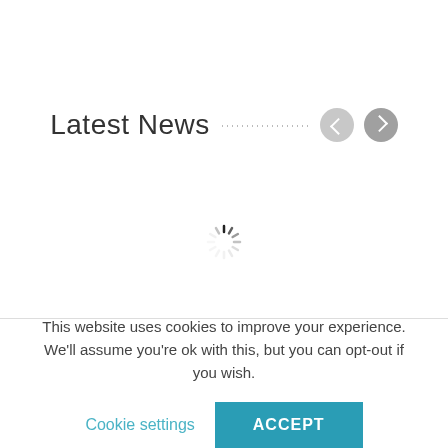Latest News
[Figure (other): Loading spinner animation (circular dashed spinner)]
This website uses cookies to improve your experience. We'll assume you're ok with this, but you can opt-out if you wish.
Cookie settings   ACCEPT